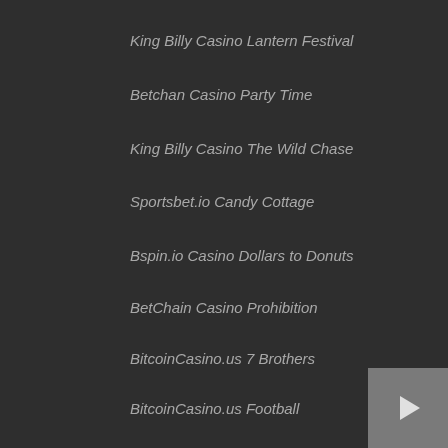King Billy Casino Lantern Festival
Betchan Casino Party Time
King Billy Casino The Wild Chase
Sportsbet.io Candy Cottage
Bspin.io Casino Dollars to Donuts
BetChain Casino Prohibition
BitcoinCasino.us 7 Brothers
BitcoinCasino.us Football
1xSlots Casino Super Heroes
CryptoGames A Christmas Carol
Betcoin.ag Casino Age Of The Gods
[Figure (other): Play button icon — grey square with a right-pointing triangle]